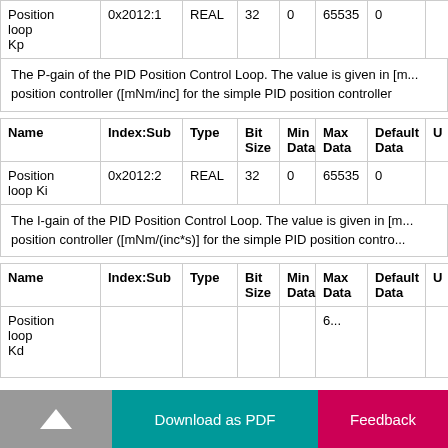| Name | Index:Sub | Type | Bit Size | Min Data | Max Data | Default Data | U |
| --- | --- | --- | --- | --- | --- | --- | --- |
| Position loop Kp | 0x2012:1 | REAL | 32 | 0 | 65535 | 0 |  |
The P-gain of the PID Position Control Loop. The value is given in [... position controller ([mNm/inc] for the simple PID position controller
| Name | Index:Sub | Type | Bit Size | Min Data | Max Data | Default Data | U |
| --- | --- | --- | --- | --- | --- | --- | --- |
| Position loop Ki | 0x2012:2 | REAL | 32 | 0 | 65535 | 0 |  |
The I-gain of the PID Position Control Loop. The value is given in [m... position controller ([mNm/(inc*s)] for the simple PID position contro...
| Name | Index:Sub | Type | Bit Size | Min Data | Max Data | Default Data | U |
| --- | --- | --- | --- | --- | --- | --- | --- |
| Position loop Kd |  |  |  |  | 6 |  |  |